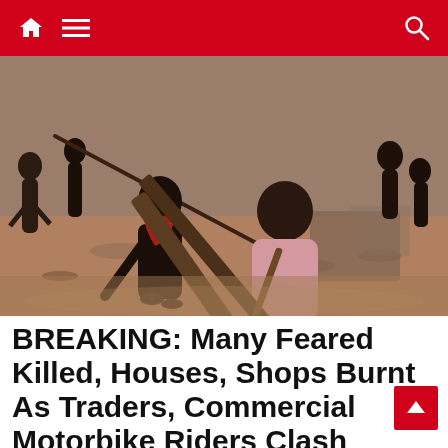Navigation bar with home icon, menu icon, and search icon
[Figure (photo): Group of people holding wooden planks and sticks, appearing to be in a confrontation on a dirt ground area.]
BREAKING: Many Feared Killed, Houses, Shops Burnt As Traders, Commercial Motorbike Riders Clash